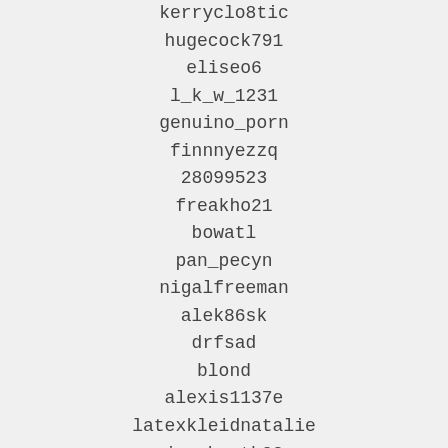kerryclo8tic
hugecock791
eliseo6
l_k_w_1231
genuino_porn
finnnyezzq
28099523
freakho21
bowatl
pan_pecyn
nigalfreeman
alek86sk
drfsad
blond
alexis1137e
latexkleidnatalie
jessbooth08
downsouthrambo06
candiceknight27
brunoder345
u101009426
1337spish
lower_user
armature_party
dark_darling